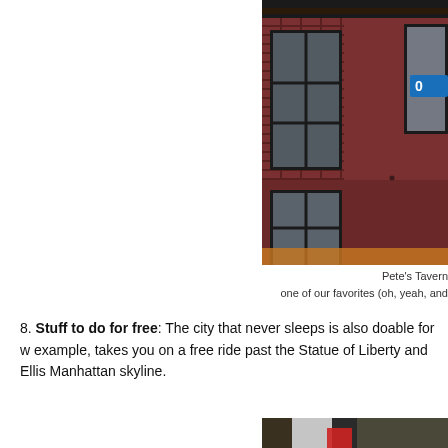[Figure (photo): Photo of Pete's Tavern brick building exterior with dark-framed windows, viewed from below at an angle. A blue sign is partially visible in the upper right corner.]
Pete's Tavern
one of our favorites (oh, yeah, and
8. Stuff to do for free: The city that never sleeps is also doable for w example, takes you on a free ride past the Statue of Liberty and Ellis Manhattan skyline.
[Figure (photo): Partial photo visible at bottom of page showing a person in white and red clothing against a dark background.]